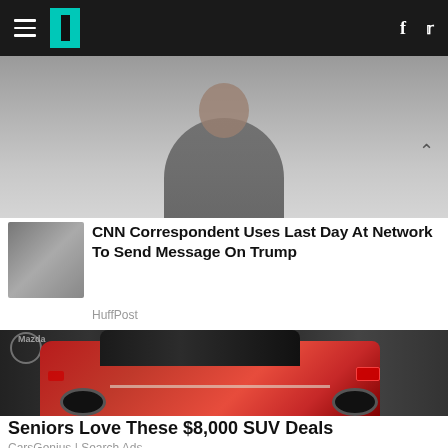HuffPost navigation bar with hamburger menu, logo, Facebook and Twitter icons
[Figure (photo): Partial photo of a person, cropped at top of page below nav bar]
CNN Correspondent Uses Last Day At Network To Send Message On Trump
HuffPost
[Figure (photo): Red Toyota RAV4 hybrid SUV at auto show, rear three-quarter view, Mazda signage visible in background]
Seniors Love These $8,000 SUV Deals
CarsGenius | Search Ads